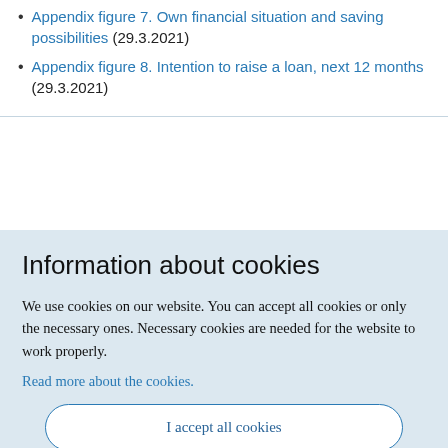Appendix figure 7. Own financial situation and saving possibilities (29.3.2021)
Appendix figure 8. Intention to raise a loan, next 12 months (29.3.2021)
Information about cookies
We use cookies on our website. You can accept all cookies or only the necessary ones. Necessary cookies are needed for the website to work properly.
Read more about the cookies.
I accept all cookies
I only accept necessary cookies